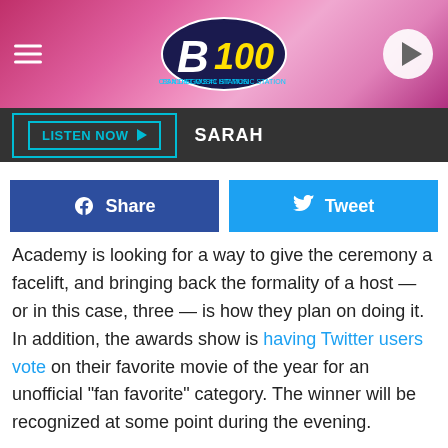[Figure (logo): B100 radio station header with pink hexagon background, hamburger menu icon on left, B100 oval logo in center, play button on right]
LISTEN NOW ▶   SARAH
[Figure (infographic): Facebook Share button and Twitter Tweet button side by side]
Academy is looking for a way to give the ceremony a facelift, and bringing back the formality of a host — or in this case, three — is how they plan on doing it. In addition, the awards show is having Twitter users vote on their favorite movie of the year for an unofficial "fan favorite" category. The winner will be recognized at some point during the evening.
ADVERTISEMENT